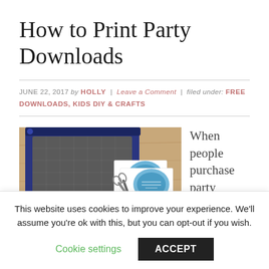How to Print Party Downloads
JUNE 22, 2017 by HOLLY | Leave a Comment | filed under: FREE DOWNLOADS, KIDS DIY & CRAFTS
[Figure (photo): Photo of a paper trimmer/cutter tool and printed party invitation cards with blue circular design, scissors visible, on a wooden table surface.]
When people purchase party printables from my
This website uses cookies to improve your experience. We'll assume you're ok with this, but you can opt-out if you wish. Cookie settings ACCEPT